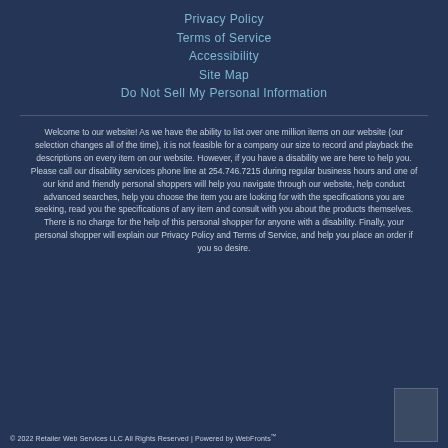Privacy Policy
Terms of Service
Accessibility
Site Map
Do Not Sell My Personal Information
Welcome to our website! As we have the ability to list over one million items on our website (our selection changes all of the time), it is not feasible for a company our size to record and playback the descriptions on every item on our website. However, if you have a disability we are here to help you. Please call our disability services phone line at 254.746.7215 during regular business hours and one of our kind and friendly personal shoppers will help you navigate through our website, help conduct advanced searches, help you choose the item you are looking for with the specifications you are seeking, read you the specifications of any item and consult with you about the products themselves. There is no charge for the help of this personal shopper for anyone with a disability. Finally, your personal shopper will explain our Privacy Policy and Terms of Service, and help you place an order if you so desire.
© 2022 Retailer Web Services LLC All Rights Reserved | Powered by WebFronts™